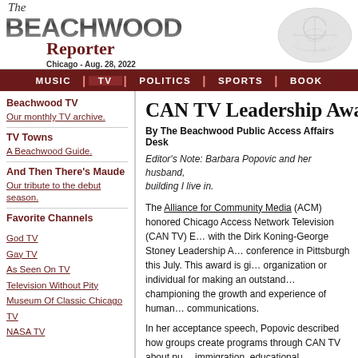The Beachwood Reporter - Chicago - Aug. 28, 2022
MUSIC | TV | POLITICS | SPORTS | BOOK
Beachwood TV
Our monthly TV archive.
TV Towns
A Beachwood Guide.
And Then There's Maude
Our tribute to the debut season.
Favorite Channels
God TV
Gay TV
As Seen On TV
Television Without Pity
Museum Of Classic Chicago TV
NASA TV
CAN TV Leadership Awa…
By The Beachwood Public Access Affairs Desk
Editor's Note: Barbara Popovic and her husband, building I live in.
The Alliance for Community Media (ACM) honored Chicago Access Network Television (CAN TV) E… with the Dirk Koning-George Stoney Leadership A… conference in Pittsburgh this July. This award is gi… organization or individual for making an outstand… championing the growth and experience of human… communications.
In her acceptance speech, Popovic described how groups create programs through CAN TV about pu… immigration, educational opportunities, and the ar… public access channels open a whole new frontier … on television. The people who are living it are telli…
CAN TV gives every Chicagoan a voice on cable…